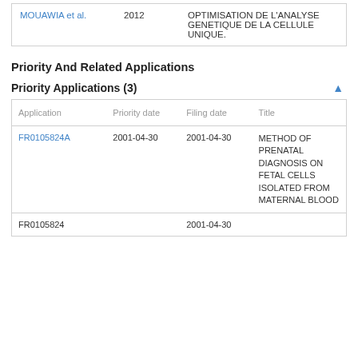|  |  |  |
| --- | --- | --- |
| MOUAWIA et al. | 2012 | OPTIMISATION DE L'ANALYSE GENETIQUE DE LA CELLULE UNIQUE. |
Priority And Related Applications
Priority Applications (3)
| Application | Priority date | Filing date | Title |
| --- | --- | --- | --- |
| FR0105824A | 2001-04-30 | 2001-04-30 | METHOD OF PRENATAL DIAGNOSIS ON FETAL CELLS ISOLATED FROM MATERNAL BLOOD |
| FR0105824 |  | 2001-04-30 |  |